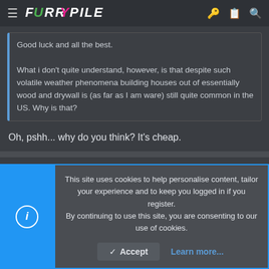FurryPile forum header with navigation icons
Good luck and all the best.
What i don't quite understand, however, is that despite such volatile weather phenomena building houses out of essentially wood and drywall is (as far as I am ware) still quite common in the US. Why is that?
Oh, pshh... why do you think? It's cheap.
Maroo
FP's resident brown bear since 2010
This site uses cookies to help personalise content, tailor your experience and to keep you logged in if you register. By continuing to use this site, you are consenting to our use of cookies.